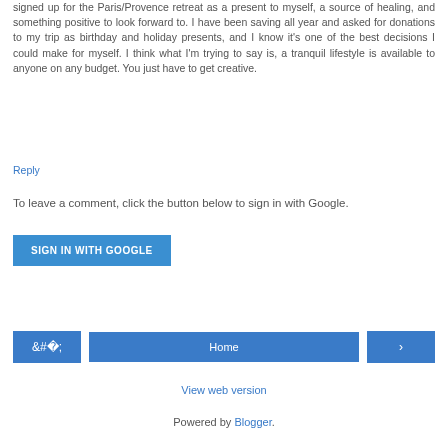signed up for the Paris/Provence retreat as a present to myself, a source of healing, and something positive to look forward to. I have been saving all year and asked for donations to my trip as birthday and holiday presents, and I know it's one of the best decisions I could make for myself. I think what I'm trying to say is, a tranquil lifestyle is available to anyone on any budget. You just have to get creative.
Reply
To leave a comment, click the button below to sign in with Google.
SIGN IN WITH GOOGLE
‹
Home
›
View web version
Powered by Blogger.